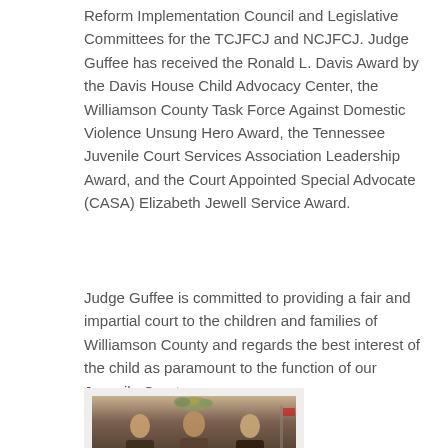Reform Implementation Council and Legislative Committees for the TCJFCJ and NCJFCJ. Judge Guffee has received the Ronald L. Davis Award by the Davis House Child Advocacy Center, the Williamson County Task Force Against Domestic Violence Unsung Hero Award, the Tennessee Juvenile Court Services Association Leadership Award, and the Court Appointed Special Advocate (CASA) Elizabeth Jewell Service Award.
Judge Guffee is committed to providing a fair and impartial court to the children and families of Williamson County and regards the best interest of the child as paramount to the function of our Juvenile Court.
[Figure (photo): A photograph showing people, partially visible at the bottom of the page]